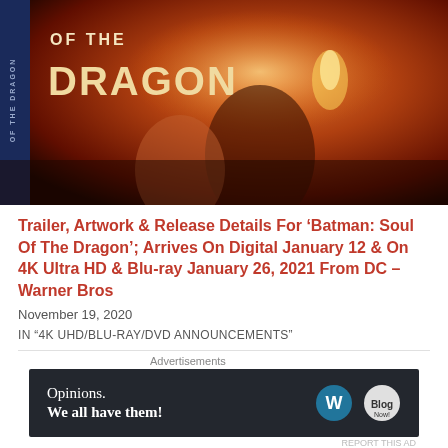[Figure (photo): Movie cover/poster for 'Batman: Soul of the Dragon' showing dramatic action scene with characters against an orange/red background, with blue spine on the left reading 'OF THE DRAGON']
Trailer, Artwork & Release Details For 'Batman: Soul Of The Dragon'; Arrives On Digital January 12 & On 4K Ultra HD & Blu-ray January 26, 2021 From DC – Warner Bros
November 19, 2020
IN "4K UHD/BLU-RAY/DVD ANNOUNCEMENTS"
KEVIN LOVELL
APRIL 16, 2019
# ADVENTURE, # ADVENTURE MOVIES, # ANIMATED, # ANIMATED
[Figure (infographic): Advertisement banner: 'Opinions. We all have them!' with WordPress and Blog logos on dark background]